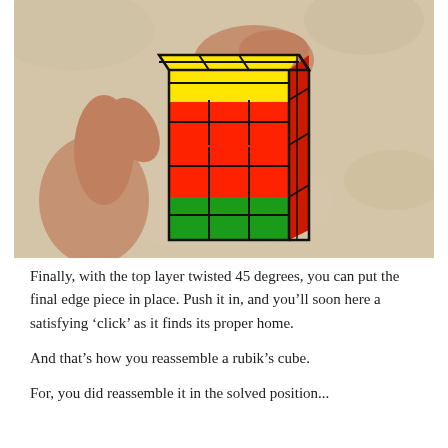[Figure (photo): Hands manipulating a Rubik's cube with top layer twisted 45 degrees, placing the final edge piece. The cube shows yellow top, red and orange front, and green bottom layers. Background is beige/cream cloth.]
Finally, with the top layer twisted 45 degrees, you can put the final edge piece in place. Push it in, and you’ll soon here a satisfying ‘click’ as it finds its proper home.
And that’s how you reassemble a rubik’s cube.
For, you did reassemble it in the solved position...